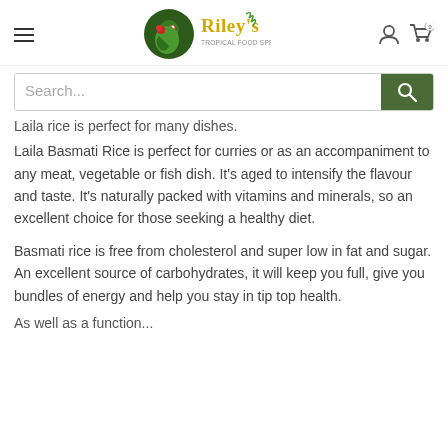Riley's Tropical Food Specialists — navigation header with hamburger menu, logo, user icon, cart icon (0)
[Figure (screenshot): Search bar with text 'Search...' and a dark green search button with magnifying glass icon]
Laila rice is perfect for many dishes. Laila Basmati Rice is perfect for curries or as an accompaniment to any meat, vegetable or fish dish. It's aged to intensify the flavour and taste. It's naturally packed with vitamins and minerals, so an excellent choice for those seeking a healthy diet.
Basmati rice is free from cholesterol and super low in fat and sugar. An excellent source of carbohydrates, it will keep you full, give you bundles of energy and help you stay in tip top health.
As well as a function...